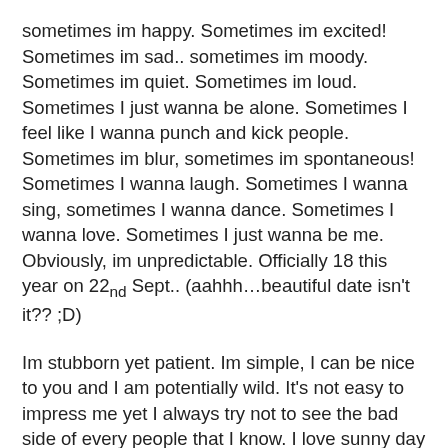sometimes im happy. Sometimes im excited! Sometimes im sad.. sometimes im moody. Sometimes im quiet. Sometimes im loud. Sometimes I just wanna be alone. Sometimes I feel like I wanna punch and kick people. Sometimes im blur, sometimes im spontaneous! Sometimes I wanna laugh. Sometimes I wanna sing, sometimes I wanna dance. Sometimes I wanna love. Sometimes I just wanna be me. Obviously, im unpredictable. Officially 18 this year on 22nd Sept.. (aahhh…beautiful date isn't it?? ;D)
Im stubborn yet patient. Im simple, I can be nice to you and I am potentially wild. It's not easy to impress me yet I always try not to see the bad side of every people that I know. I love sunny day and I lurrrrvvveeee sunshine yet I hate that it makes me dark, or tan, or whatever you call